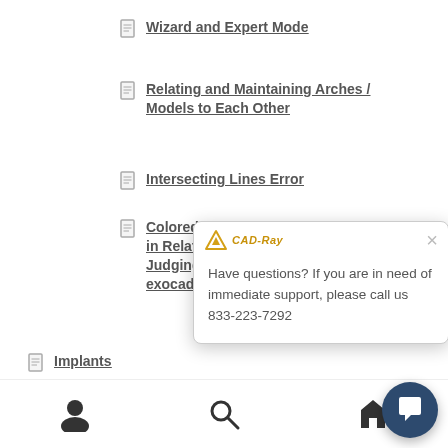Wizard and Expert Mode
Relating and Maintaining Arches / Models to Each Other
Intersecting Lines Error
Colored Histogram and Its Significance in Relating Models to Each Other and Judging the Accuracy of the Merge in exocad
Implants
Exoplan Implant [truncated]
Implant Restora[truncated]
Split Cro[truncated] / Restorat[truncated]
Screw-Re[truncated]
Adding Implant Scanbody Libraries [truncated]
Have questions? If you are in need of immediate support, please call us 833-223-7292
Navigation icons: user, search, home/chat